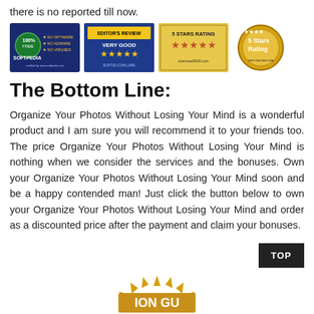there is no reported till now.
[Figure (illustration): Four software review badges: Softpedia 100% Free certified badge, Editor's Review Very Good 4 stars from Soft32.com Labs, 5 Stars Rating from Download5000.com, and 5 Stars Rating gold coin from Softtester.com]
The Bottom Line:
Organize Your Photos Without Losing Your Mind is a wonderful product and I am sure you will recommend it to your friends too. The price Organize Your Photos Without Losing Your Mind is nothing when we consider the services and the bonuses. Own your Organize Your Photos Without Losing Your Mind soon and be a happy contended man! Just click the button below to own your Organize Your Photos Without Losing Your Mind and order as a discounted price after the payment and claim your bonuses.
[Figure (illustration): Partial gold guarantee seal showing 'ION GU' text at bottom of page]